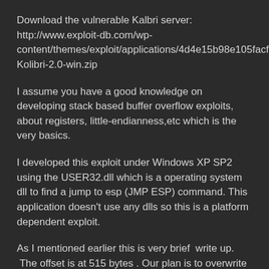Download the vulnerable Kalbri server: http://www.exploit-db.com/wp-content/themes/exploit/applications/4d4e15b98e105facf94e4fd6a1f9eb78-Kolibri-2.0-win.zip
I assume you have a good knowledge on developing stack based buffer overflow exploits, about registers, little-endianness,etc which is the very basics.
I developed this exploit under Windows XP SP2 using the USER32.dll which is a operating system dll to find a jump to esp (JMP ESP) command. This application doesn't use any dlls so this is a platform dependent exploit.
As I mentioned earlier this is very brief  write up.  The offset is at 515 bytes . Our plan is to overwrite the EIP register with our JMP ESP address and we want jump back 60 bytes backwards to the starting point of our hunter so that it would be executed. Then it would search everywhere inside the memory to find the tag and execute our shellcode. Opcode for jmp is EB and 60 bytes back means -60 is C4 so